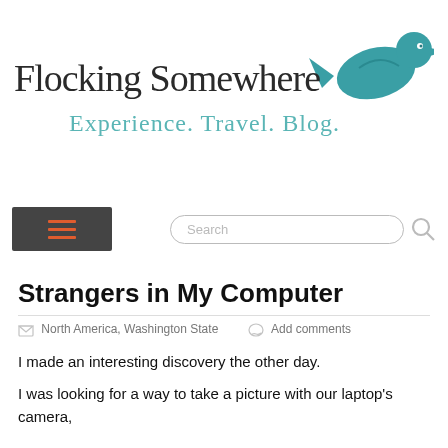[Figure (logo): Flocking Somewhere blog logo with teal bird silhouette and handwritten-style text reading 'Flocking Somewhere' and subtitle 'Experience. Travel. Blog.']
[Figure (screenshot): Navigation bar with dark grey menu/hamburger button with orange lines, and a search input field with a search icon]
Strangers in My Computer
North America, Washington State   Add comments
I made an interesting discovery the other day.
I was looking for a way to take a picture with our laptop's camera,